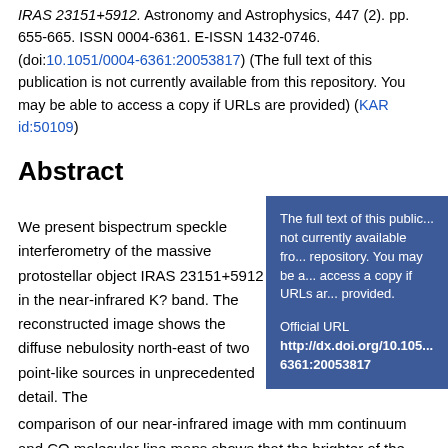IRAS 23151+5912. Astronomy and Astrophysics, 447 (2). pp. 655-665. ISSN 0004-6361. E-ISSN 1432-0746. (doi:10.1051/0004-6361:20053817) (The full text of this publication is not currently available from this repository. You may be able to access a copy if URLs are provided) (KAR id:50109)
Abstract
The full text of this publication is not currently available from this repository. You may be able to access a copy if URLs are provided.
Official URL http://dx.doi.org/10.1051/0004-6361:20053817
We present bispectrum speckle interferometry of the massive protostellar object IRAS 23151+5912 in the near-infrared K? band. The reconstructed image shows the diffuse nebulosity north-east of two point-like sources in unprecedented detail. The comparison of our near-infrared image with mm continuum and CO molecular line maps shows that the brighter of the two point sources lies near the center of the mm peak, indicating that it is a high mass protostar. The nebulosity coincides with the blueshift...